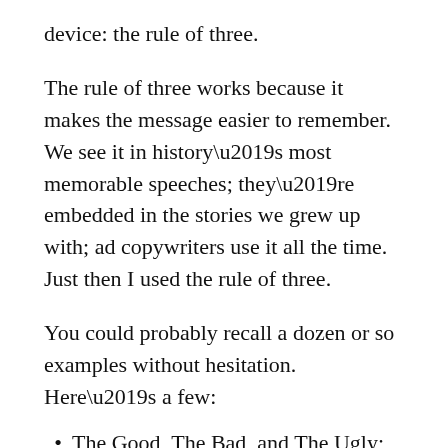device: the rule of three.
The rule of three works because it makes the message easier to remember. We see it in history’s most memorable speeches; they’re embedded in the stories we grew up with; ad copywriters use it all the time. Just then I used the rule of three.
You could probably recall a dozen or so examples without hesitation. Here’s a few:
The Good, The Bad, and The Ugly;